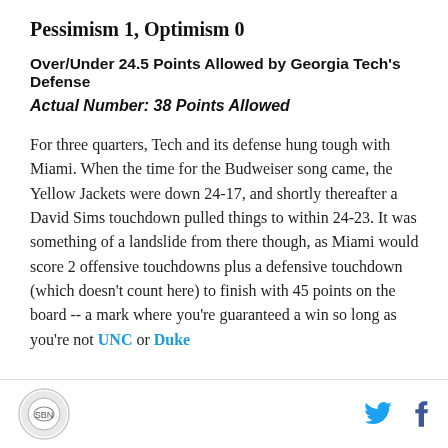Pessimism 1, Optimism 0
Over/Under 24.5 Points Allowed by Georgia Tech's Defense
Actual Number: 38 Points Allowed
For three quarters, Tech and its defense hung tough with Miami. When the time for the Budweiser song came, the Yellow Jackets were down 24-17, and shortly thereafter a David Sims touchdown pulled things to within 24-23. It was something of a landslide from there though, as Miami would score 2 offensive touchdowns plus a defensive touchdown (which doesn't count here) to finish with 45 points on the board -- a mark where you're guaranteed a win so long as you're not UNC or Duke
Logo and social media icons